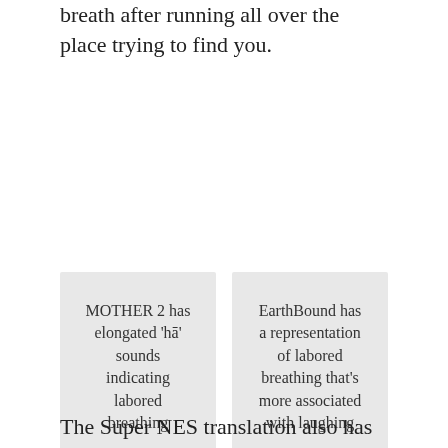breath after running all over the place trying to find you.
MOTHER 2 has elongated 'hā' sounds indicating labored breathing
EarthBound has a representation of labored breathing that's more associated with laughing
The Super NES translation also has Kefka say